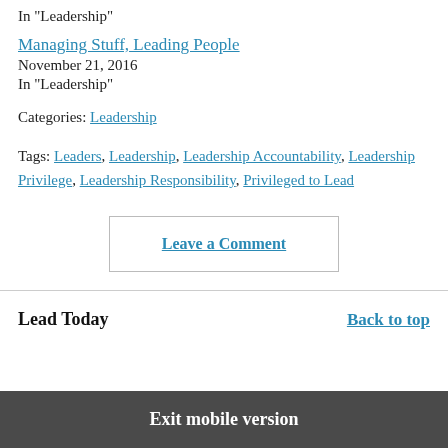In "Leadership"
Managing Stuff, Leading People
November 21, 2016
In "Leadership"
Categories: Leadership
Tags: Leaders, Leadership, Leadership Accountability, Leadership Privilege, Leadership Responsibility, Privileged to Lead
Leave a Comment
Lead Today
Back to top
Exit mobile version